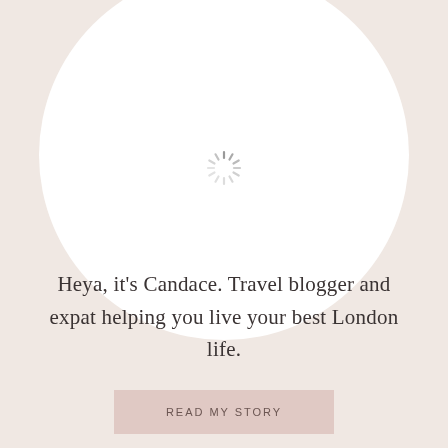[Figure (illustration): Large white circle on a light pinkish-beige background with a loading spinner icon in the center of the circle]
Heya, it's Candace. Travel blogger and expat helping you live your best London life.
READ MY STORY